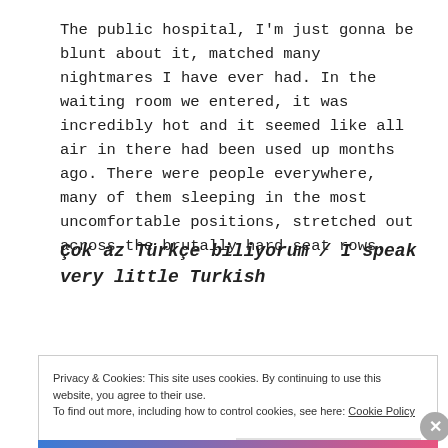The public hospital, I'm just gonna be blunt about it, matched many nightmares I have ever had. In the waiting room we entered, it was incredibly hot and it seemed like all air in there had been used up months ago. There were people everywhere, many of them sleeping in the most uncomfortable positions, stretched out across the brutally hard seat rows.
Çok az Türkçe biliyorum / I speak very little Turkish
Privacy & Cookies: This site uses cookies. By continuing to use this website, you agree to their use.
To find out more, including how to control cookies, see here: Cookie Policy
Close and accept